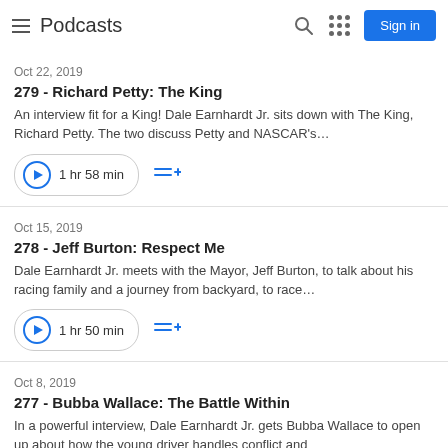Podcasts | Sign in
Oct 22, 2019
279 - Richard Petty: The King
An interview fit for a King! Dale Earnhardt Jr. sits down with The King, Richard Petty. The two discuss Petty and NASCAR's…
1 hr 58 min
Oct 15, 2019
278 - Jeff Burton: Respect Me
Dale Earnhardt Jr. meets with the Mayor, Jeff Burton, to talk about his racing family and a journey from backyard, to race…
1 hr 50 min
Oct 8, 2019
277 - Bubba Wallace: The Battle Within
In a powerful interview, Dale Earnhardt Jr. gets Bubba Wallace to open up about how the young driver handles conflict and